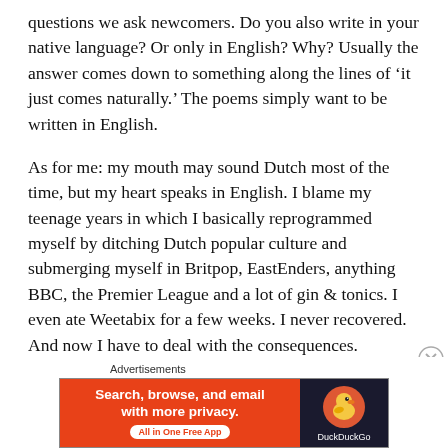questions we ask newcomers. Do you also write in your native language? Or only in English? Why? Usually the answer comes down to something along the lines of 'it just comes naturally.' The poems simply want to be written in English.
As for me: my mouth may sound Dutch most of the time, but my heart speaks in English. I blame my teenage years in which I basically reprogrammed myself by ditching Dutch popular culture and submerging myself in Britpop, EastEnders, anything BBC, the Premier League and a lot of gin & tonics. I even ate Weetabix for a few weeks. I never recovered. And now I have to deal with the consequences.
Advertisements
[Figure (other): DuckDuckGo advertisement banner with orange left panel reading 'Search, browse, and email with more privacy. All in One Free App' and dark right panel with DuckDuckGo duck logo]